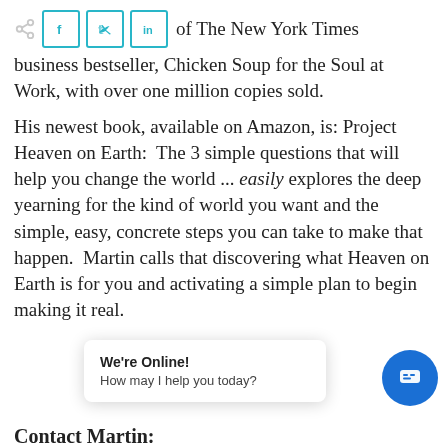of The New York Times business bestseller, Chicken Soup for the Soul at Work, with over one million copies sold.
His newest book, available on Amazon, is: Project Heaven on Earth:  The 3 simple questions that will help you change the world ... easily explores the deep yearning for the kind of world you want and the simple, easy, concrete steps you can take to make that happen.  Martin calls that discovering what Heaven on Earth is for you and activating a simple plan to begin making it real.
Contact Martin: